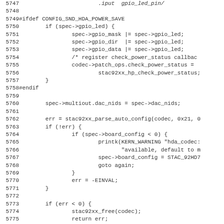[Figure (screenshot): Source code listing in C (Linux kernel), lines 5747-5779, showing HDA codec power save and auto-config logic including gpio_led, multiout.dac_nids, stac92xx_parse_auto_config, error handling, and bass enable comment.]